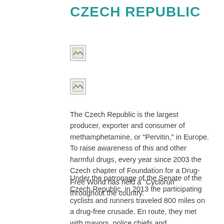CZECH REPUBLIC
[Figure (photo): Small image placeholder (broken/missing image icon)]
[Figure (photo): Small image placeholder (broken/missing image icon)]
The Czech Republic is the largest producer, exporter and consumer of methamphetamine, or “Pervitin,” in Europe. To raise awareness of this and other harmful drugs, every year since 2003 the Czech chapter of Foundation for a Drug-Free World has held a “Cyclorun” throughout the country.
Under the patronage of the Senate of the Czech Republic, in 2013 the participating cyclists and runners traveled 800 miles on a drug-free crusade. En route, they met with mayors, police chiefs and